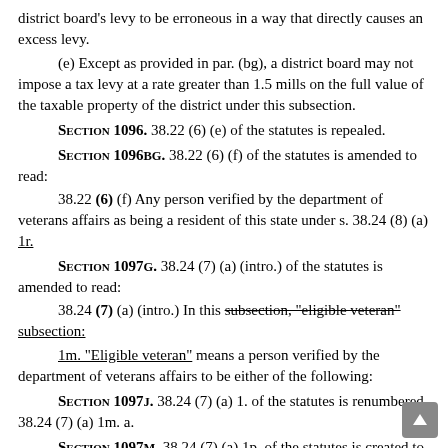district board's levy to be erroneous in a way that directly causes an excess levy.
(e) Except as provided in par. (bg), a district board may not impose a tax levy at a rate greater than 1.5 mills on the full value of the taxable property of the district under this subsection.
SECTION 1096. 38.22 (6) (e) of the statutes is repealed.
SECTION 1096BG. 38.22 (6) (f) of the statutes is amended to read:
38.22 (6) (f) Any person verified by the department of veterans affairs as being a resident of this state under s. 38.24 (8) (a) 1r.
SECTION 1097G. 38.24 (7) (a) (intro.) of the statutes is amended to read:
38.24 (7) (a) (intro.) In this subsection, "eligible veteran" subsection:
1m. "Eligible veteran" means a person verified by the department of veterans affairs to be either of the following:
SECTION 1097J. 38.24 (7) (a) 1. of the statutes is renumbered 38.24 (7) (a) 1m. a.
SECTION 1097M. 38.24 (7) (a) 1p. of the statutes is created to read:
38.24 (7) (a) 1p. "Fees" means the amount charged to a resident student under sub. (1m) (a) to (c) to enroll in a course leading to an associate degree, collegiate transfer, or vocational diploma. In the case of a distance education, online, or other